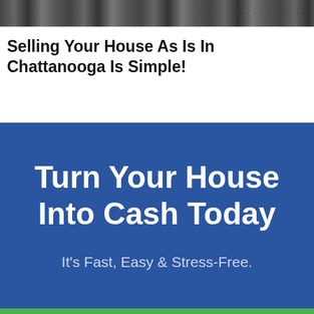[Figure (photo): Black and white photo of a house exterior used as a banner at the top of the page]
Selling Your House As Is In Chattanooga Is Simple!
Turn Your House Into Cash Today
It's Fast, Easy & Stress-Free.